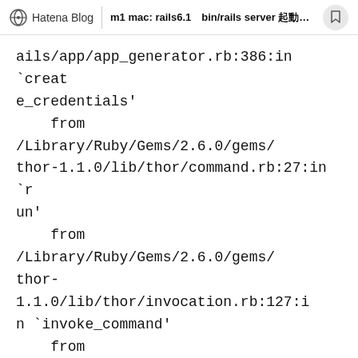Hatena Blog | m1 mac: rails6.1 bin/rails server ...
ails/app/app_generator.rb:386:in `create_credentials'
    from /Library/Ruby/Gems/2.6.0/gems/thor-1.1.0/lib/thor/command.rb:27:in `run'
    from /Library/Ruby/Gems/2.6.0/gems/thor-1.1.0/lib/thor/invocation.rb:127:in `invoke_command'
    from /Library/Ruby/Gems/2.6.0/gems/thor-1.1.0/lib/thor/invocation.rb:134:in `block in invoke_all'
    from /Library/Ruby/Gems/2.6.0/gems/thor-1.1.0/lib/thor/invocation.rb:134:in `each'